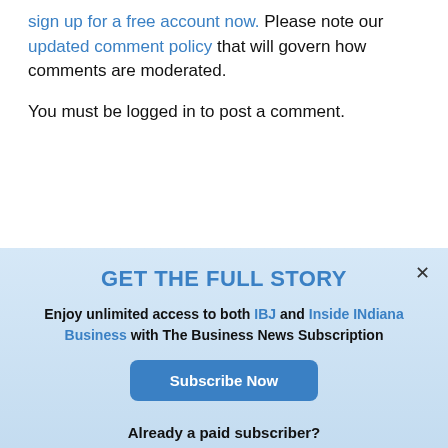sign up for a free account now. Please note our updated comment policy that will govern how comments are moderated.
You must be logged in to post a comment.
THIS WEEK
GET THE FULL STORY
Enjoy unlimited access to both IBJ and Inside INdiana Business with The Business News Subscription
Subscribe Now
Already a paid subscriber?
Log In